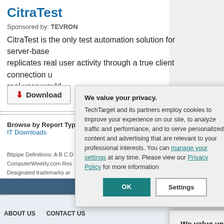CitraTest
Sponsored by: TEVRON
CitraTest is the only test automation solution for server-based replicates real user activity through a true client connection u real user would.
Download
Browse by Report Type: C IT Downloads
Bitpipe Definitions: A B C D
ComputerWeekly.com Res
Designated trademarks ar
Use of this web site consti
ABOUT US   CONTACT US
We value your privacy.
TechTarget and its partners employ cookies to improve your experience on our site, to analyze traffic and performance, and to serve personalized content and advertising that are relevant to your professional interests. You can manage your settings at any time. Please view our Privacy Policy for more information
OK
Settings